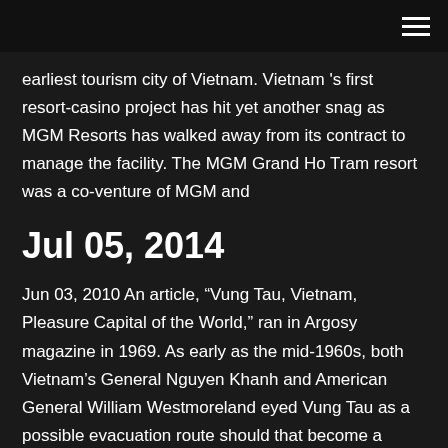earliest tourism city of Vietnam. Vietnam 's first resort-casino project has hit yet another snag as MGM Resorts has walked away from its contract to manage the facility. The MGM Grand Ho Tram resort was a co-venture of MGM and
Jul 05, 2014
Jun 03, 2010 An article, “Vung Tau, Vietnam, Pleasure Capital of the World,” ran in Argosy magazine in 1969. As early as the mid-1960s, both Vietnam’s General Nguyen Khanh and American General William Westmoreland eyed Vung Tau as a possible evacuation route should that become a necessity. Their thoughts proved prophetic. Apr 23, 2010 Mgm Casino In Vung Tau Vietnam, combinaison la plus forte au poker, slot m2 nvme, northwest poker events